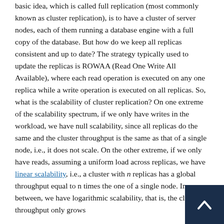basic idea, which is called full replication (most commonly known as cluster replication), is to have a cluster of server nodes, each of them running a database engine with a full copy of the database. But how do we keep all replicas consistent and up to date? The strategy typically used to update the replicas is ROWAA (Read One Write All Available), where each read operation is executed on any one replica while a write operation is executed on all replicas. So, what is the scalability of cluster replication? On one extreme of the scalability spectrum, if we only have writes in the workload, we have null scalability, since all replicas do the same and the cluster throughput is the same as that of a single node, i.e., it does not scale. On the other extreme, if we only have reads, assuming a uniform load across replicas, we have linear scalability, i.e., a cluster with n replicas has a global throughput equal to n times the one of a single node. In between, we have logarithmic scalability, that is, the cluster throughput only grows